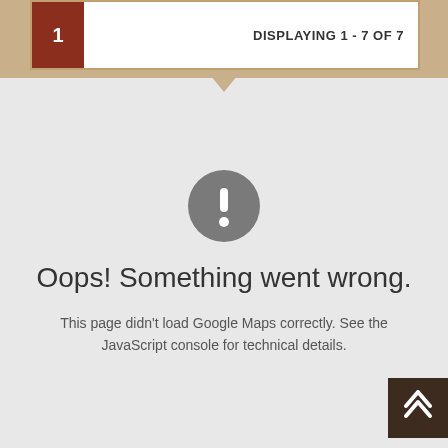1
DISPLAYING 1 - 7 OF 7
[Figure (infographic): A gray circle with a white exclamation mark icon indicating an error state]
Oops! Something went wrong.
This page didn't load Google Maps correctly. See the JavaScript console for technical details.